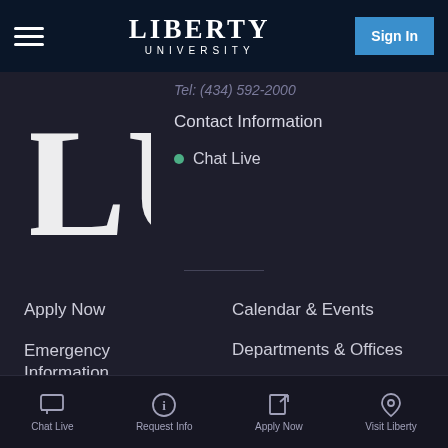LIBERTY UNIVERSITY — Sign In
[Figure (logo): Liberty University LU logo partial, white letters on dark background]
Tel: (434) 592-2000
Contact Information
Chat Live
Apply Now
Calendar & Events
Emergency Information
Departments & Offices
Work at Liberty
Visit Liberty
Free Mobile App
Request More Info
Chat Live  Request Info  Apply Now  Visit Liberty